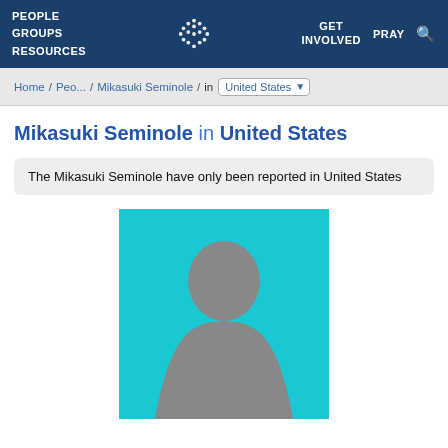PEOPLE GROUPS  RESOURCES  PRAY  GET INVOLVED
Home / Peo... / Mikasuki Seminole / in United States
Mikasuki Seminole in United States
The Mikasuki Seminole have only been reported in United States
[Figure (photo): Placeholder silhouette image of a person against a cyan/teal background]